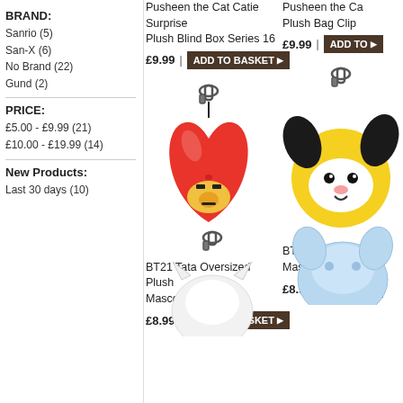BRAND:
Sanrio (5)
San-X (6)
No Brand (22)
Gund (2)
PRICE:
£5.00 - £9.99 (21)
£10.00 - £19.99 (14)
New Products:
Last 30 days (10)
Pusheen the Cat Catie Surprise Plush Blind Box Series 16
£9.99 | ADD TO BASKET
Pusheen the Cat Plush Bag Clip
£9.99 | ADD TO
[Figure (photo): BT21 Tata Oversized Plush Mascot Key Clip - red heart-shaped plush with a cute face and carabiner clip]
BT21 Tata Oversized Plush Mascot Key Clip
£8.99 | ADD TO BASKET
[Figure (photo): BT21 Chimmy Oversized Plush Mascot Key Clip - yellow and black dog-eared plush with carabiner clip]
BT21 Chimmy Oversized Plush Mascot Key Clip
£8.99 | ADD TO
[Figure (photo): Bottom left product - white plush with carabiner clip, partially visible]
[Figure (photo): Bottom right product - light blue plush, partially visible]